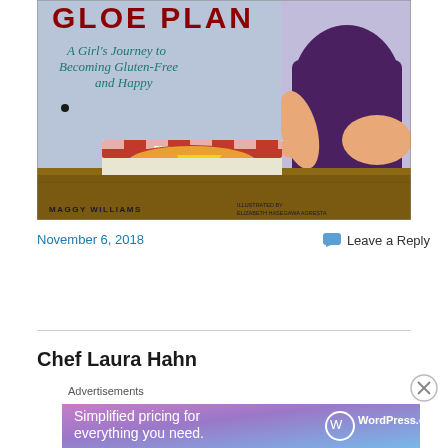[Figure (illustration): Book cover for 'Gloe Plan: A Girl's Journey to Becoming Gluten-Free and Happy' by Maggy Williams, illustrated by Elizabeth Hasegawa Agresta. Shows a girl figure reaching into a pizza box with cheese pulling away, against a blue-grey background.]
November 6, 2018
Leave a Reply
Chef Laura Hahn
Advertisements
[Figure (screenshot): WordPress.com advertisement banner: 'Simplified pricing for everything you need.' with WordPress.com logo on a pink-purple-blue gradient background.]